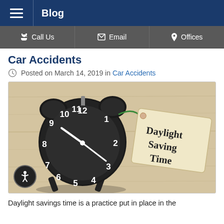Blog
Call Us | Email | Offices
Car Accidents
Posted on March 14, 2019 in Car Accidents
[Figure (photo): A black alarm clock with white numbers on a wooden surface, with a tag reading 'Daylight Saving Time' hanging from it]
Daylight savings time is a practice put in place in the